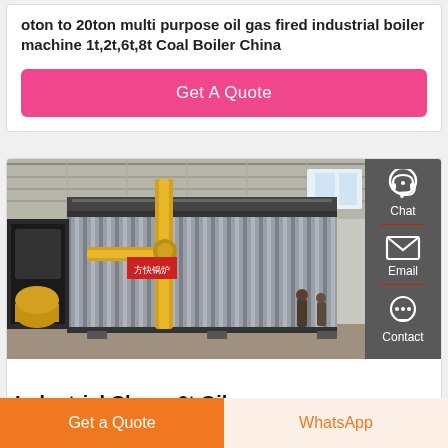oton to 20ton multi purpose oil gas fired industrial boiler machine 1t,2t,6t,8t Coal Boiler China
Get A Quote
[Figure (photo): Industrial boiler machine in a factory warehouse with yellow gas pipes and corrugated metal casing, two workers visible in background]
Chat
Email
Contact
Industrial Cheap 6t Oil
Get a Quote
WhatsApp